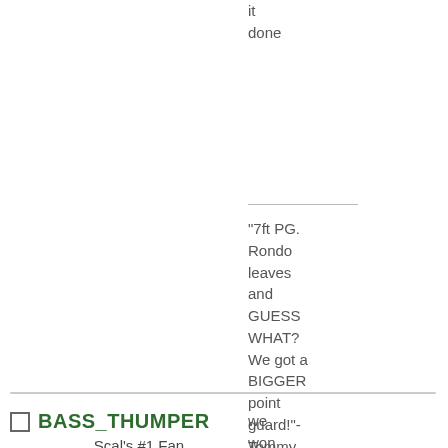it
done
"7ft PG. Rondo leaves and GUESS WHAT? We got a BIGGER point guard!"-Tommy on Olynyk
BASS_THUMPER
Scal's #1 Fan
Danny Ainge
★★★★★★★★★★
we won in miami most